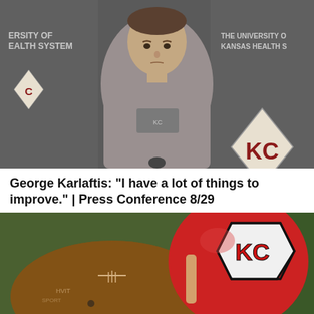[Figure (photo): Press conference photo of George Karlaftis, a young man in a grey Kansas City Chiefs t-shirt, sitting in front of a dark backdrop with Kansas City Chiefs logos and 'The University of Kansas Health System' branding.]
George Karlaftis: "I have a lot of things to improve." | Press Conference 8/29
[Figure (photo): Close-up photo of a Kansas City Chiefs red football helmet with the KC arrowhead logo, next to a football, taken outdoors with a blurred green background.]